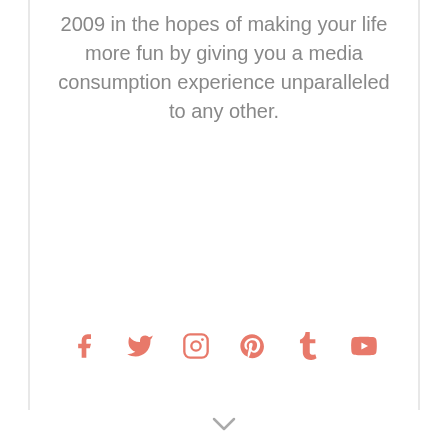2009 in the hopes of making your life more fun by giving you a media consumption experience unparalleled to any other.
[Figure (infographic): Six social media icons in salmon/coral color arranged horizontally: Facebook (f), Twitter (bird), Instagram (camera), Pinterest (p), Tumblr (t), YouTube (play button)]